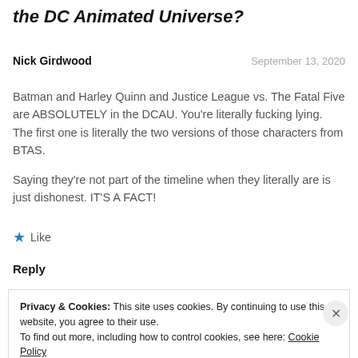the DC Animated Universe?
Nick Girdwood
September 13, 2020
Batman and Harley Quinn and Justice League vs. The Fatal Five are ABSOLUTELY in the DCAU. You're literally fucking lying. The first one is literally the two versions of those characters from BTAS.
Saying they're not part of the timeline when they literally are is just dishonest. IT'S A FACT!
Like
Reply
Privacy & Cookies: This site uses cookies. By continuing to use this website, you agree to their use. To find out more, including how to control cookies, see here: Cookie Policy
Close and accept